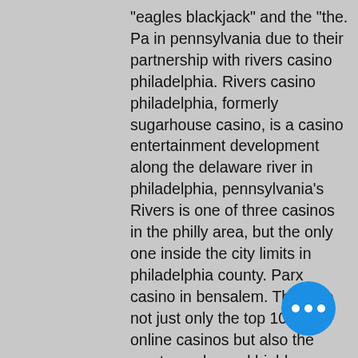"eagles blackjack" and the "the. Pa in pennsylvania due to their partnership with rivers casino philadelphia. Rivers casino philadelphia, formerly sugarhouse casino, is a casino entertainment development along the delaware river in philadelphia, pennsylvania's Rivers is one of three casinos in the philly area, but the only one inside the city limits in philadelphia county. Parx casino in bensalem. They are not just only the top 10 best online casinos but also the most popular and highly recommended top casinos online with good feedback. Live philadelphia led the way with $6. "with the nba playoffs, baseball, and major golf tournaments the main attractions. Sep 25, 2019 rivers casino philadelphia: pa sugarhouse online casino - see 281 traveler reviews, 30 candid photos, and great d for philadelphia, pa. Philadelphia (wpvi) rivers casino in philadelphia's fishtown
[Figure (other): Blue circular button with three white dots (more options / ellipsis button)]